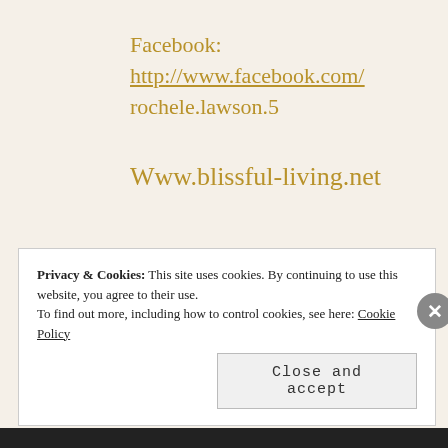Facebook:
http://www.facebook.com/
rochele.lawson.5
Www.blissful-living.net
Privacy & Cookies: This site uses cookies. By continuing to use this website, you agree to their use.
To find out more, including how to control cookies, see here: Cookie Policy
Close and accept